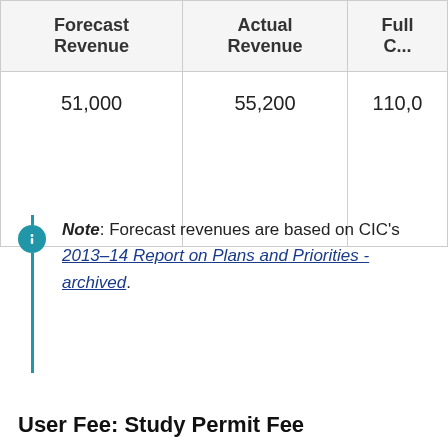| Forecast Revenue | Actual Revenue | Full C... |
| --- | --- | --- |
| 51,000 | 55,200 | 110,0... |
Note: Forecast revenues are based on CIC's 2013–14 Report on Plans and Priorities - archived.
User Fee: Study Permit Fee